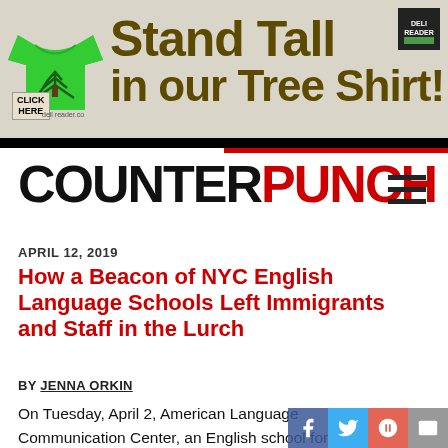[Figure (illustration): Advertisement banner with a green t-shirt and text 'Stand Tall in our Tree Shirt!' on a beige/tan background with a small logo in the top right corner and a 'Click Here' button.]
COUNTERPUNCH
APRIL 12, 2019
How a Beacon of NYC English Language Schools Left Immigrants and Staff in the Lurch
BY JENNA ORKIN
On Tuesday, April 2, American Language Communication Center, an English school for immigrants which has been in existence for forty-four years, announced that it was closing, the last day of